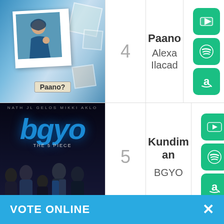[Figure (photo): Album art for 'Paano' by Alexa Ilacad - polaroid style photo of woman with text 'Paano?']
4
Paano
Alexa Ilacad
[Figure (infographic): YouTube, Spotify, Amazon music streaming icons (green buttons)]
[Figure (photo): Album art for 'Kundiman' by BGYO - group photo with BGYO logo]
5
Kundiman
BGYO
[Figure (infographic): YouTube, Spotify, Amazon music streaming icons (green buttons)]
[Figure (photo): Partial album art row 3 - cartoon box illustration with blue sky background]
ARKD (partially visible)
[Figure (infographic): YouTube icon (green button, partially visible)]
VOTE ONLINE